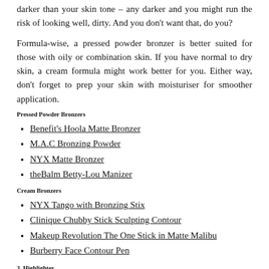darker than your skin tone – any darker and you might run the risk of looking well, dirty. And you don't want that, do you?
Formula-wise, a pressed powder bronzer is better suited for those with oily or combination skin. If you have normal to dry skin, a cream formula might work better for you. Either way, don't forget to prep your skin with moisturiser for smoother application.
Pressed Powder Bronzers
Benefit's Hoola Matte Bronzer
M.A.C Bronzing Powder
NYX Matte Bronzer
theBalm Betty-Lou Manizer
Cream Bronzers
NYX Tango with Bronzing Stix
Clinique Chubby Stick Sculpting Contour
Makeup Revolution The One Stick in Matte Malibu
Burberry Face Contour Pen
3. Highlighter